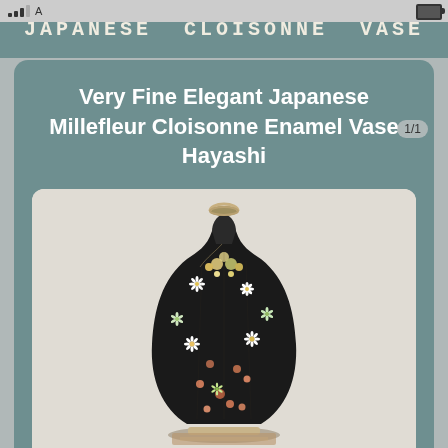JAPANESE CLOISONNE VASE
Very Fine Elegant Japanese Millefleur Cloisonne Enamel Vase Hayashi
[Figure (photo): A Japanese Millefleur Cloisonne Enamel Vase by Hayashi, black background with colorful floral patterns cascading down the body, metallic rim at the top, photographed against a light gray background.]